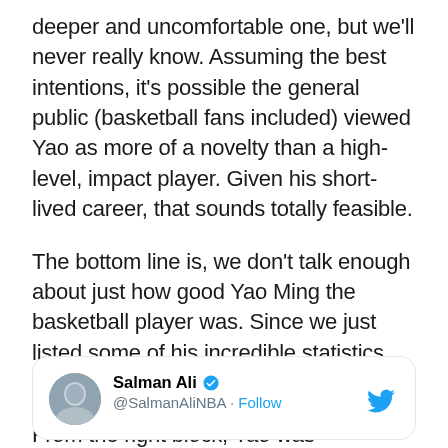deeper and uncomfortable one, but we'll never really know. Assuming the best intentions, it's possible the general public (basketball fans included) viewed Yao as more of a novelty than a high-level, impact player. Given his short-lived career, that sounds totally feasible.
The bottom line is, we don't talk enough about just how good Yao Ming the basketball player was. Since we just listed some of his incredible statistics, let's start with his offensive game.
From the right block, Yao was impossible to guard one-on-one. At 7'6" with a feathery touch, it was a non-starter.
[Figure (screenshot): Tweet card showing Salman Ali (@SalmanAliNBA) with verified badge and Follow link, Twitter bird logo in top right corner]